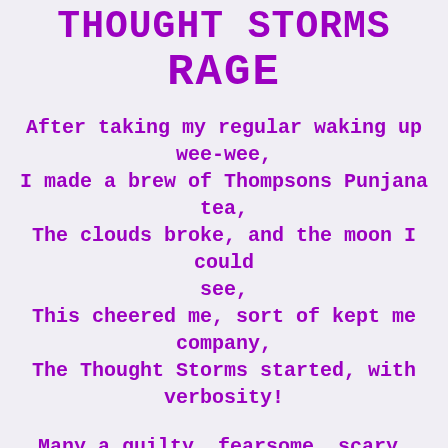THOUGHT STORMS RAGE
After taking my regular waking up wee-wee,
I made a brew of Thompsons Punjana tea,
The clouds broke, and the moon I could see,
This cheered me, sort of kept me company,
The Thought Storms started, with verbosity!
Many a guilty, fearsome, scary, memory,
Happy events too, but not too many,
Alike the first time I saw a lovely...